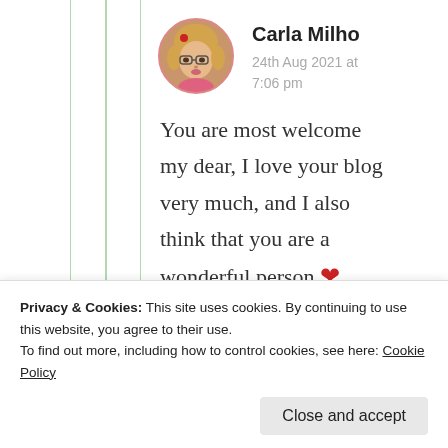[Figure (photo): Circular avatar photo of Carla Milho, a woman with glasses and blonde hair wearing a pink top, with a small red floral accessory]
Carla Milho
24th Aug 2021 at 7:06 pm
You are most welcome my dear, I love your blog very much, and I also think that you are a wonderful person ❤ loves 😘😘🍎
Privacy & Cookies: This site uses cookies. By continuing to use this website, you agree to their use.
To find out more, including how to control cookies, see here: Cookie Policy
Close and accept